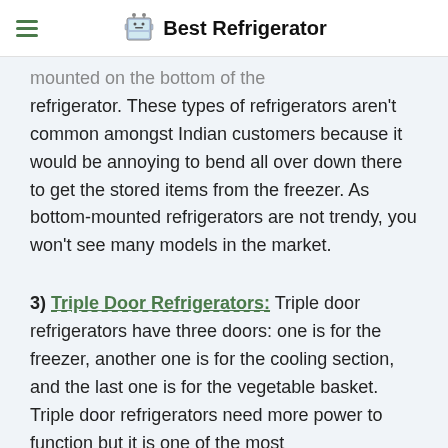Best Refrigerator
mounted on the bottom of the refrigerator. These types of refrigerators aren't common amongst Indian customers because it would be annoying to bend all over down there to get the stored items from the freezer. As bottom-mounted refrigerators are not trendy, you won't see many models in the market.
3) Triple Door Refrigerators: Triple door refrigerators have three doors: one is for the freezer, another one is for the cooling section, and the last one is for the vegetable basket. Triple door refrigerators need more power to function but it is one of the most